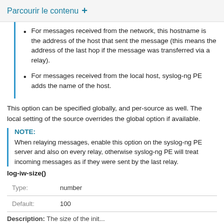Parcourir le contenu +
For messages received from the network, this hostname is the address of the host that sent the message (this means the address of the last hop if the message was transferred via a relay).
For messages received from the local host, syslog-ng PE adds the name of the host.
This option can be specified globally, and per-source as well. The local setting of the source overrides the global option if available.
NOTE:
When relaying messages, enable this option on the syslog-ng PE server and also on every relay, otherwise syslog-ng PE will treat incoming messages as if they were sent by the last relay.
log-iw-size()
| Type: | Default: |
| --- | --- |
| Type: | number |
| Default: | 100 |
Description: The size of the init...